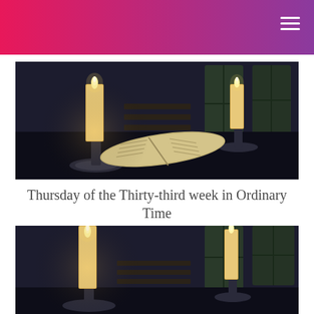[Figure (photo): Church interior with two lit candles on candlesticks and an open book/missal on a dark table, pews visible in background, dark atmospheric lighting]
Thursday of the Thirty-third week in Ordinary Time
Thursday, November 19, 2020
[Figure (photo): Same church interior with two lit candles on candlesticks, dark atmospheric lighting with windows in background]